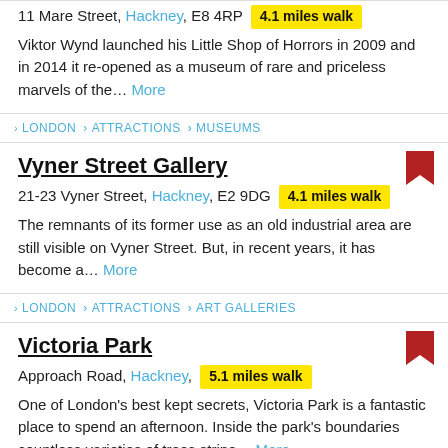11 Mare Street, Hackney, E8 4RP  4.1 miles walk
Viktor Wynd launched his Little Shop of Horrors in 2009 and in 2014 it re-opened as a museum of rare and priceless marvels of the... More
LONDON > ATTRACTIONS > MUSEUMS
Vyner Street Gallery
21-23 Vyner Street, Hackney, E2 9DG  4.1 miles walk
The remnants of its former use as an old industrial area are still visible on Vyner Street. But, in recent years, it has become a... More
LONDON > ATTRACTIONS > ART GALLERIES
Victoria Park
Approach Road, Hackney,  5.1 miles walk
One of London's best kept secrets, Victoria Park is a fantastic place to spend an afternoon. Inside the park's boundaries countless varieties of trees stripe... More
LONDON > ATTRACTIONS > PARKS AND GARDENS